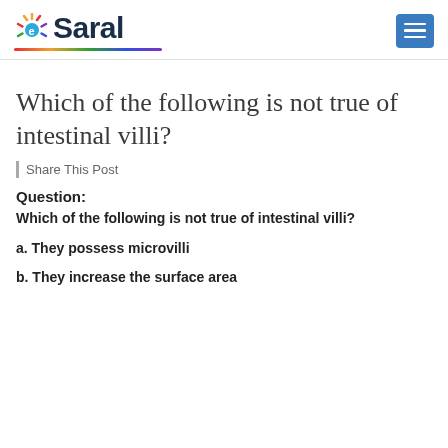eSaral
Which of the following is not true of intestinal villi?
| Share This Post
Question:
Which of the following is not true of intestinal villi?
a. They possess microvilli
b. They increase the surface area